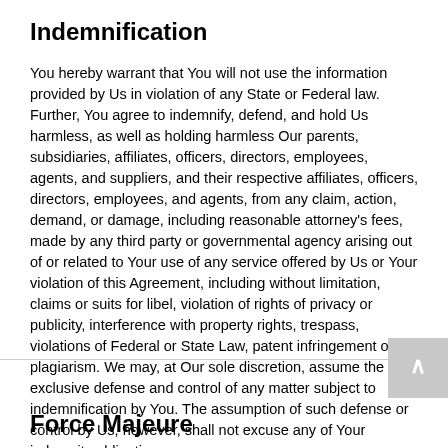Indemnification
You hereby warrant that You will not use the information provided by Us in violation of any State or Federal law. Further, You agree to indemnify, defend, and hold Us harmless, as well as holding harmless Our parents, subsidiaries, affiliates, officers, directors, employees, agents, and suppliers, and their respective affiliates, officers, directors, employees, and agents, from any claim, action, demand, or damage, including reasonable attorney's fees, made by any third party or governmental agency arising out of or related to Your use of any service offered by Us or Your violation of this Agreement, including without limitation, claims or suits for libel, violation of rights of privacy or publicity, interference with property rights, trespass, violations of Federal or State Law, patent infringement or plagiarism. We may, at Our sole discretion, assume the exclusive defense and control of any matter subject to indemnification by You. The assumption of such defense or control by Us, however, shall not excuse any of Your indemnity obligations.
Force Majeure